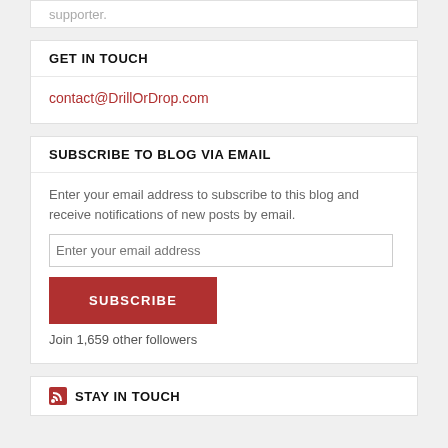supporter.
GET IN TOUCH
contact@DrillOrDrop.com
SUBSCRIBE TO BLOG VIA EMAIL
Enter your email address to subscribe to this blog and receive notifications of new posts by email.
Enter your email address
SUBSCRIBE
Join 1,659 other followers
STAY IN TOUCH